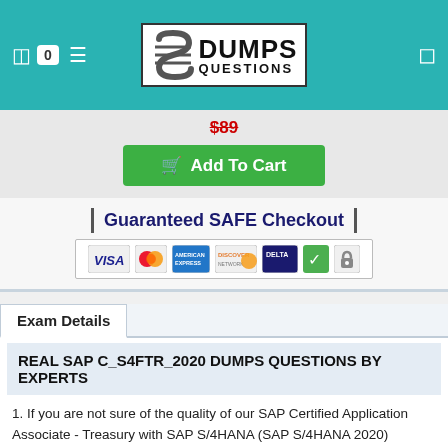[Figure (logo): DumpsQuestions logo with stylized S letter and header navigation bar on teal background]
$89 (strikethrough price)
Add To Cart button
[Figure (infographic): Guaranteed SAFE Checkout banner with VISA, MasterCard, American Express, Discover, Delta, checkmark and lock icons]
Exam Details
REAL SAP C_S4FTR_2020 DUMPS QUESTIONS BY EXPERTS
1. If you are not sure of the quality of our SAP Certified Application Associate - Treasury with SAP S/4HANA (SAP S/4HANA 2020) C_S4FTR_2020 product than you are free to download the SAP C_S4FTR_2020 demo to verify your doubts